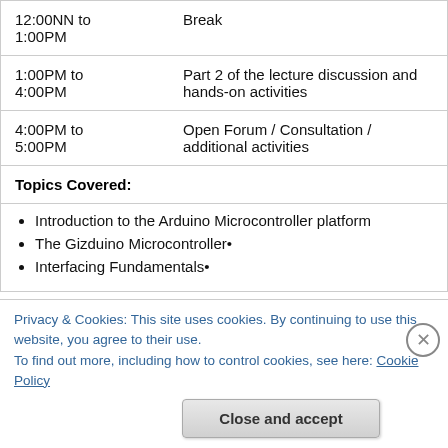| Time | Activity |
| --- | --- |
| 12:00NN to 1:00PM | Break |
| 1:00PM to 4:00PM | Part 2 of the lecture discussion and hands-on activities |
| 4:00PM to 5:00PM | Open Forum / Consultation / additional activities |
| Topics Covered: |  |
|  | Introduction to the Arduino Microcontroller platform
The Gizduino Microcontroller•
Interfacing Fundamentals• |
Privacy & Cookies: This site uses cookies. By continuing to use this website, you agree to their use.
To find out more, including how to control cookies, see here: Cookie Policy